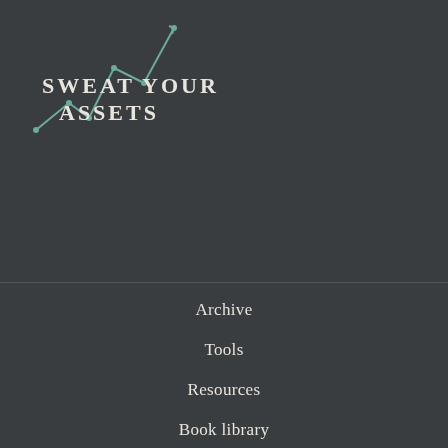[Figure (logo): Sweat Your Assets logo with teal line graph icon and white text reading SWEAT YOUR ASSETS]
Archive
Tools
Resources
Book library
Best Quotes
[Figure (logo): YouTube icon button (rounded rectangle with play triangle)]
Keep in Touch